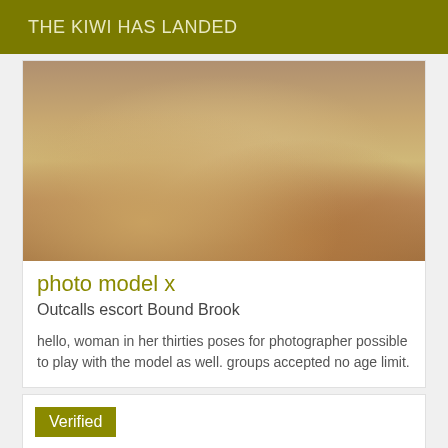THE KIWI HAS LANDED
[Figure (photo): Photo of a person posing on a colorful patterned couch/sofa, wearing minimal white clothing with a bracelet visible]
photo model x
Outcalls escort Bound Brook
hello, woman in her thirties poses for photographer possible to play with the model as well. groups accepted no age limit.
Verified